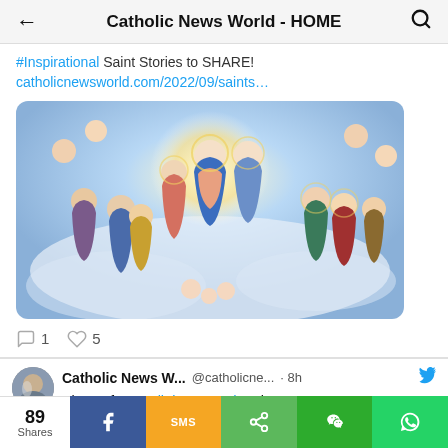Catholic News World - HOME
#Inspirational Saint Stories to SHARE! catholicnewsworld.com/2022/09/saints…
[Figure (photo): Religious painting/fresco depicting Jesus Christ enthroned with saints and angels surrounding him, in classical Renaissance style]
1  5 (comment and like counts)
Catholic News W... @catholicne... · 8h  Victory for #ReligiousFreedom in #Germany as
89 Shares